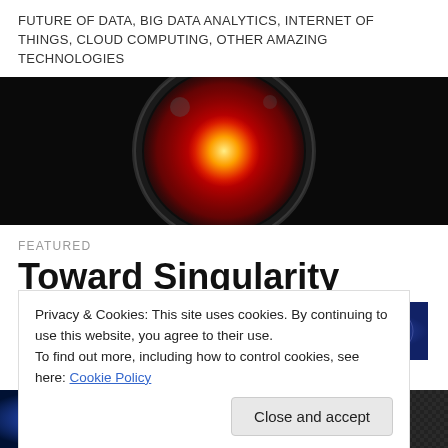FUTURE OF DATA, BIG DATA ANALYTICS, INTERNET OF THINGS, CLOUD COMPUTING, OTHER AMAZING TECHNOLOGIES
[Figure (photo): Dark circular lens-like object with a red and orange glowing center, resembling an AI eye (HAL 9000 style)]
FEATURED
Toward Singularity
[Figure (photo): Abstract colorful digital/tech image with glowing streaks of light in purple, blue, red tones]
Privacy & Cookies: This site uses cookies. By continuing to use this website, you agree to their use.
To find out more, including how to control cookies, see here: Cookie Policy
[Figure (photo): Two thumbnail images at the bottom - left shows abstract blue digital art, right shows a dark carbon fiber or mesh texture]